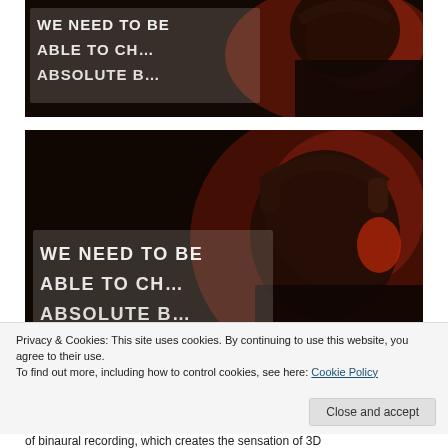[Figure (photo): Person wearing headphones viewed from behind, facing a screen displaying bold white text 'WE NEED TO BE ABLE TO CH... ABSOLUTE B...' on dark background with red lighting.]
[Figure (photo): Same person wearing headphones viewed from behind at closer angle, facing a screen displaying bold white text 'WE NEED TO BE ABLE TO CH... ABSOLUTE B...' on dark background with red/orange lighting.]
Privacy & Cookies: This site uses cookies. By continuing to use this website, you agree to their use.
To find out more, including how to control cookies, see here: Cookie Policy
of binaural recording, which creates the sensation of 3D